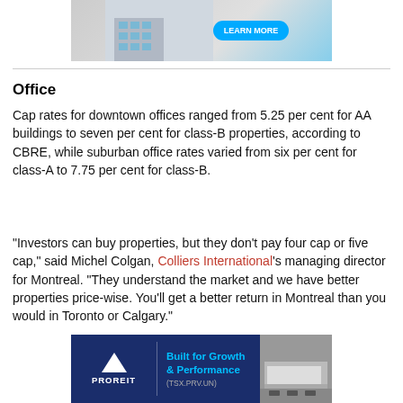[Figure (photo): Top advertisement banner showing a commercial building with a blue button, partial view]
Office
Cap rates for downtown offices ranged from 5.25 per cent for AA buildings to seven per cent for class-B properties, according to CBRE, while suburban office rates varied from six per cent for class-A to 7.75 per cent for class-B.
“Investors can buy properties, but they don’t pay four cap or five cap,” said Michel Colgan, Colliers International’s managing director for Montreal. “They understand the market and we have better properties price-wise. You’ll get a better return in Montreal than you would in Toronto or Calgary.”
[Figure (photo): PROREIT advertisement banner: Built for Growth & Performance (TSX:PRV.UN) with logo triangle and warehouse building image]